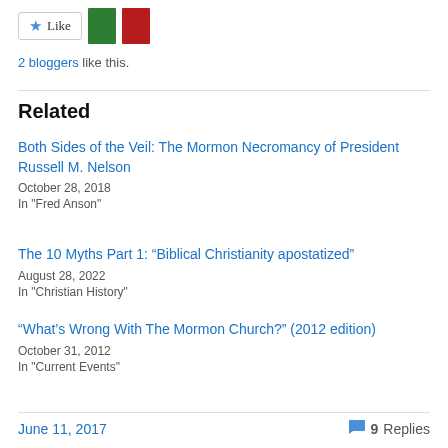[Figure (other): Like button with star icon and two blogger avatar thumbnails (green and red book covers)]
2 bloggers like this.
Related
Both Sides of the Veil: The Mormon Necromancy of President Russell M. Nelson
October 28, 2018
In "Fred Anson"
The 10 Myths Part 1: “Biblical Christianity apostatized”
August 28, 2022
In "Christian History"
“What’s Wrong With The Mormon Church?” (2012 edition)
October 31, 2012
In "Current Events"
June 11, 2017   9 Replies